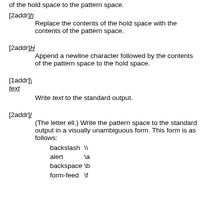of the hold space to the pattern space.
[2addr]h
Replace the contents of the hold space with the contents of the pattern space.
[2addr]H
Append a newline character followed by the contents of the pattern space to the hold space.
[1addr]\
text
Write text to the standard output.
[2addr]l
(The letter ell.) Write the pattern space to the standard output in a visually unambiguous form. This form is as follows:
| Name | Escape |
| --- | --- |
| backslash | \\ |
| alert | \a |
| backspace | \b |
| form-feed | \f |